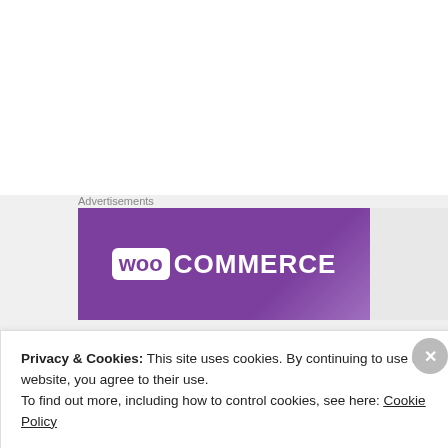Advertisements
[Figure (logo): WooCommerce logo on purple gradient banner background with grey area to the right]
[Figure (bar-chart): Dark background bar chart with blue, orange, and grey bars showing charter school African-American population data and proficiency percentages. Y-axis shows percentages from 0 to 100.00%. Multiple grouped bars for various charter schools.]
Privacy & Cookies: This site uses cookies. By continuing to use this website, you agree to their use.
To find out more, including how to control cookies, see here: Cookie Policy